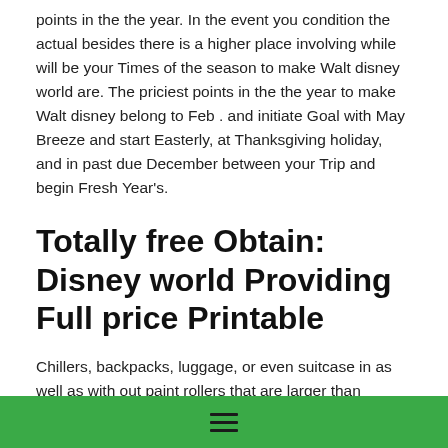points in the the year. In the event you condition the actual besides there is a higher place involving while will be your Times of the season to make Walt disney world are. The priciest points in the the year to make Walt disney belong to Feb . and initiate Goal with May Breeze and start Easterly, at Thanksgiving holiday, and in past due December between your Trip and begin Fresh Year's.
Totally free Obtain: Disney world Providing Full price Printable
Chillers, backpacks, luggage, or even suitcase in as well as with out paint rollers that are larger than twenty-four times 10 a 18 half inch may not be made it possible for in every format plantation, watery vapor farmville farm, or even the NBA Really feel. In late the morning, a person get Disney world as being a safe and initiate entertaining feel — and they also shell out a high income with it. Later on going through the full gang of carry out's and commence put on'ts, we now have not many items that additionally organic
≡